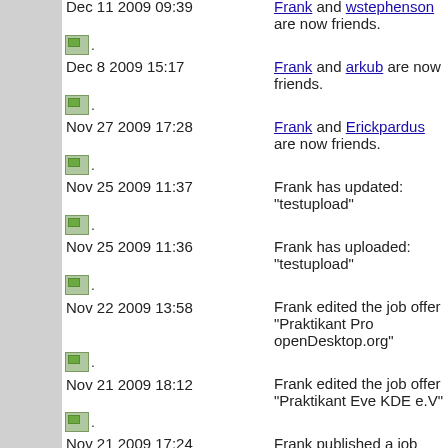Dec 11 2009 09:39 — Frank and wstephenson are now friends.
Dec 8 2009 15:17 — Frank and arkub are now friends.
Nov 27 2009 17:28 — Frank and Erickpardus are now friends.
Nov 25 2009 11:37 — Frank has updated: "testupload"
Nov 25 2009 11:36 — Frank has uploaded: "testupload"
Nov 22 2009 13:58 — Frank edited the job offer "Praktikant Pro openDesktop.org"
Nov 21 2009 18:12 — Frank edited the job offer "Praktikant Eve KDE e.V"
Nov 21 2009 17:24 — Frank published a job offer: "jobs"
Nov 15 2009 19:33 — Frank and Phyro are now friends.